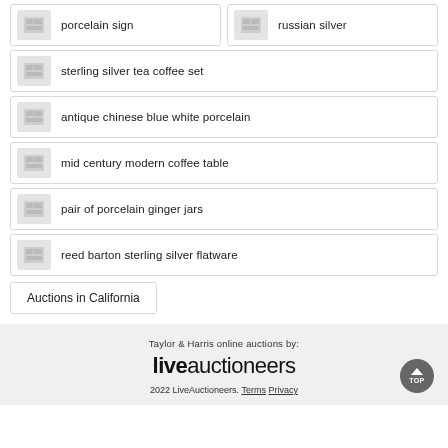porcelain sign
russian silver
sterling silver tea coffee set
antique chinese blue white porcelain
mid century modern coffee table
pair of porcelain ginger jars
reed barton sterling silver flatware
Auctions in California
Taylor & Harris online auctions by: liveauctioneers 2022 LiveAuctioneers. Terms Privacy